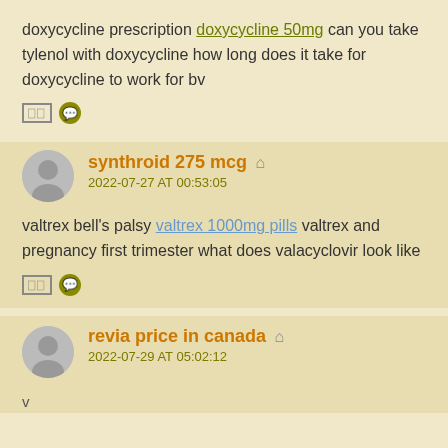doxycycline prescription doxycycline 50mg can you take tylenol with doxycycline how long does it take for doxycycline to work for bv
[icons: box + speech bubble]
synthroid 275 mcg — 2022-07-27 AT 00:53:05
valtrex bell's palsy valtrex 1000mg pills valtrex and pregnancy first trimester what does valacyclovir look like
[icons: box + speech bubble]
revia price in canada — 2022-07-29 AT 05:02:12